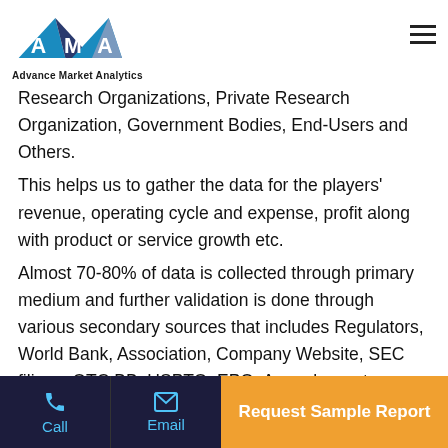[Figure (logo): Advance Market Analytics logo with triangular AMA design in blue and grey]
Research Organizations, Private Research Organization, Government Bodies, End-Users and Others.
This helps us to gather the data for the players' revenue, operating cycle and expense, profit along with product or service growth etc.
Almost 70-80% of data is collected through primary medium and further validation is done through various secondary sources that includes Regulators, World Bank, Association, Company Website, SEC filings, OTC BB, USPTO, EPO, Annual reports, press
Call | Email | Request Sample Report